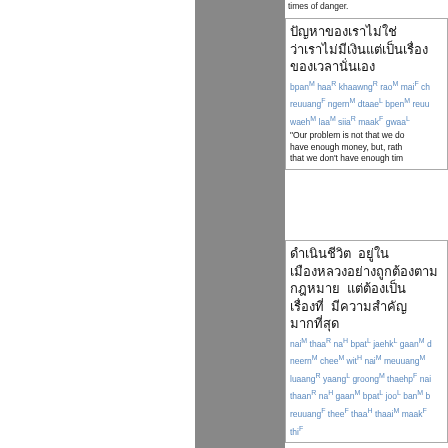times of danger.
Thai text block 1 with romanization: bpan M haa R khaawng R rao M mai F cha... reuuang F ngern M dtaae L bpen M reuua... waeh M laa M siia R maak F gwaa L
"Our problem is not that we do... have enough money, but, rath... that we don't have enough tim...
Thai text block 2 with romanization: nai M thaa R na H bpat L jaehk L gaan M d... neern M chee M wit H nai M meuuang M ... luaang R yaang L groong M thaehp F nai... thaan R na H gaan M bpat L joo L ban M b... reuuang F thee F thaa H thaai M maak F...